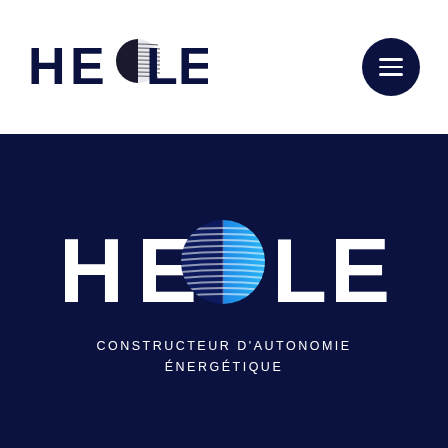[Figure (logo): HEOLE logo in black on white header bar with circular globe icon replacing the O]
[Figure (other): Dark navy circular hamburger menu button with three white horizontal lines]
[Figure (logo): HEOLE logo in white on dark navy background with blue gradient circular globe icon replacing the O]
CONSTRUCTEUR D'AUTONOMIE ÉNERGÉTIQUE